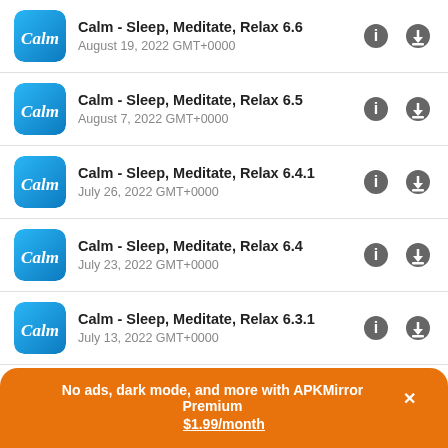Calm - Sleep, Meditate, Relax 6.6 | August 19, 2022 GMT+0000
Calm - Sleep, Meditate, Relax 6.5 | August 7, 2022 GMT+0000
Calm - Sleep, Meditate, Relax 6.4.1 | July 26, 2022 GMT+0000
Calm - Sleep, Meditate, Relax 6.4 | July 23, 2022 GMT+0000
Calm - Sleep, Meditate, Relax 6.3.1 | July 13, 2022 GMT+0000
Calm - Sleep, Meditate, Relax 6.3 (partial)
No ads, dark mode, and more with APKMirror Premium × $1.99/month